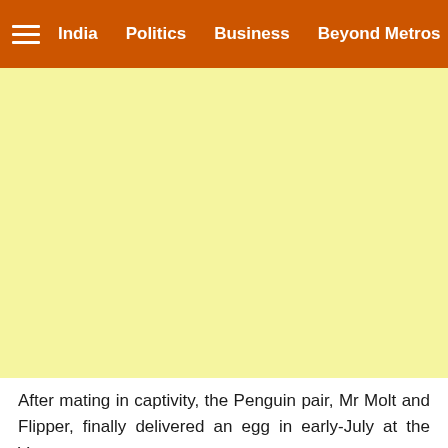India  Politics  Business  Beyond Metros
[Figure (other): Yellow advertisement block placeholder]
After mating in captivity, the Penguin pair, Mr Molt and Flipper, finally delivered an egg in early-July at the Veer